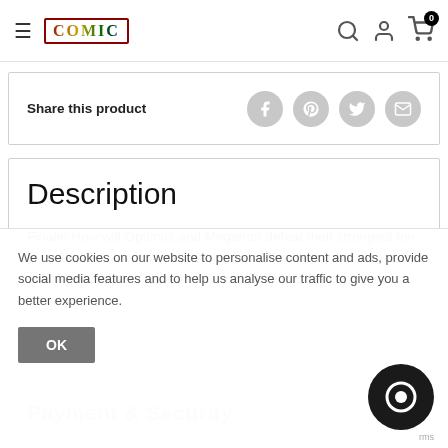≡  COMIC  🔍 👤 🛒 0
Share this product
Description
Finale! How will Optimus and Megatron defeat their strongest foe to date? The Vok. Will their rivalry get in the way or will they put everything aside to save them and their fellow Cybertronians!
Payment & Security
We use cookies on our website to personalise content and ads, provide social media features and to help us analyse our traffic to give you a better experience.